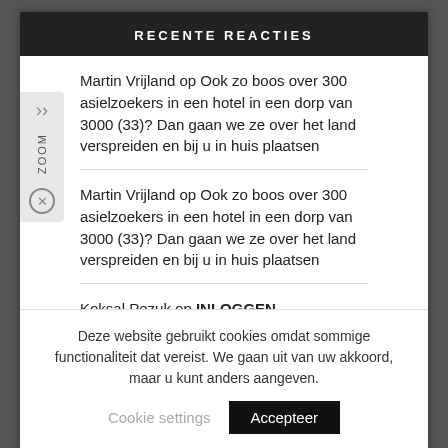RECENTE REACTIES
Martin Vrijland op Ook zo boos over 300 asielzoekers in een hotel in een dorp van 3000 (33)? Dan gaan we ze over het land verspreiden en bij u in huis plaatsen
Martin Vrijland op Ook zo boos over 300 asielzoekers in een hotel in een dorp van 3000 (33)? Dan gaan we ze over het land verspreiden en bij u in huis plaatsen
Koksal Pezuk op INLOGGEN
Ion op Ook zo boos over 300 asielzoekers in een hotel in een dorp van 3000 (33)? Dan gaan we ze over het
Deze website gebruikt cookies omdat sommige functionaliteit dat vereist. We gaan uit van uw akkoord, maar u kunt anders aangeven.
Cookie settings  Accepteer